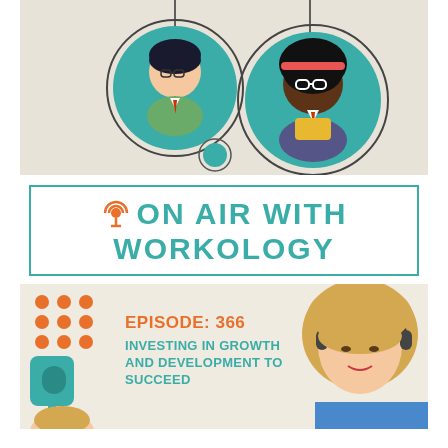[Figure (illustration): Flat design illustration of two diverse professional characters in teal circular bubbles connected by lines, with a small teal dot below, on a beige/cream background. Left character has dark hair and glasses, right character is a dark-skinned woman with white glasses and a red headband.]
ON AIR WITH WORKOLOGY
[Figure (illustration): Podcast episode banner for Workology Episode 366: Investing in Growth and Development to Succeed. Shows a woman with blonde hair wearing headphones on the right, teal and orange branding elements on the left with orange dot grid pattern, and a partial face of another woman at the bottom left.]